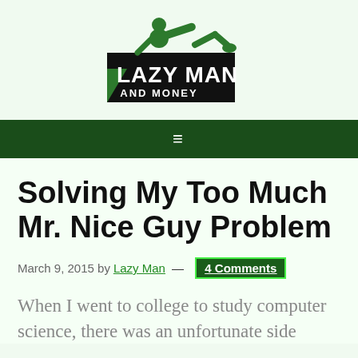[Figure (logo): Lazy Man and Money logo: silhouette of a man reclining on black text block, green figure, bold black and green text reading LAZY MAN AND MONEY]
≡
Solving My Too Much Mr. Nice Guy Problem
March 9, 2015 by Lazy Man — 4 Comments
When I went to college to study computer science, there was an unfortunate side